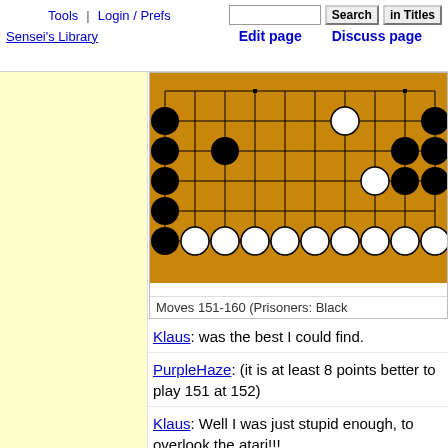Tools | Login / Prefs | Search | in Titles | Sensei's Library | Edit page | Discuss page
[Figure (other): Go board diagram showing moves 151-160 with black and white stones on a wooden board]
Moves 151-160 (Prisoners: Black
Klaus: was the best I could find.
PurpleHaze: (it is at least 8 points better to play 151 at 152)
Klaus: Well I was just stupid enough, to overlook the atari!!!
I resignh here! B149 was a blunder.(see
Thanks for the interesting game!
( Neil: For what it's worth, I nearly jumped in and played  myself. Now I'm glad I didn't, though. :-) Well Neil, you might have done that, I did it too! :) (Klaus)
I just wanted to point out that the black